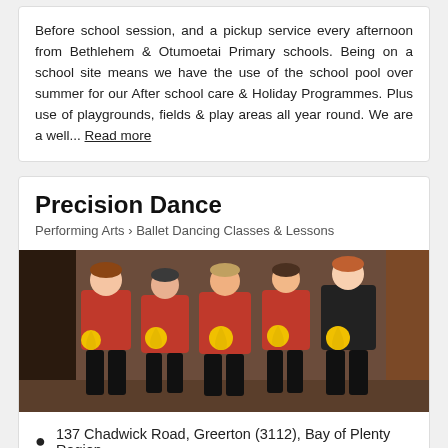Before school session, and a pickup service every afternoon from Bethlehem & Otumoetai Primary schools. Being on a school site means we have the use of the school pool over summer for our After school care & Holiday Programmes. Plus use of playgrounds, fields & play areas all year round. We are a well... Read more
Precision Dance
Performing Arts > Ballet Dancing Classes & Lessons
[Figure (photo): Group photo of young girls in red tops and black pants holding yellow rosette ribbons/awards, standing together at a dance competition]
137 Chadwick Road, Greerton (3112), Bay of Plenty Region
Quote
Booking